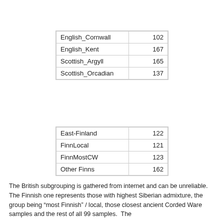| English_Cornwall | 102 |
| English_Kent | 167 |
| Scottish_Argyll | 165 |
| Scottish_Orcadian | 137 |
| East-Finland | 122 |
| FinnLocal | 121 |
| FinnMostCW | 123 |
| Other Finns | 162 |
The British subgrouping is gathered from internet and can be unreliable.  The Finnish one represents those with highest Siberian admixture, the group being "most Finnish" / local, those closest ancient Corded Ware samples and the rest of all 99 samples.  The